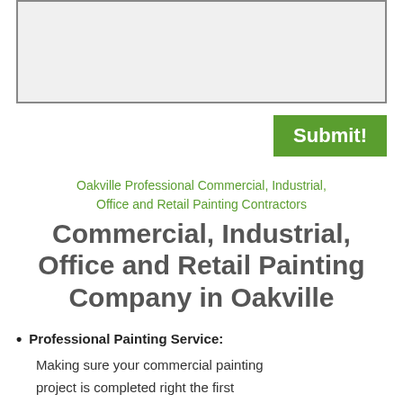[Figure (other): Input text area box (form field, light gray background with dark border)]
Submit!
Oakville Professional Commercial, Industrial, Office and Retail Painting Contractors
Commercial, Industrial, Office and Retail Painting Company in Oakville
Professional Painting Service: Making sure your commercial painting project is completed right the first time with quality in mind from start to finish. You'll get this feeling from the